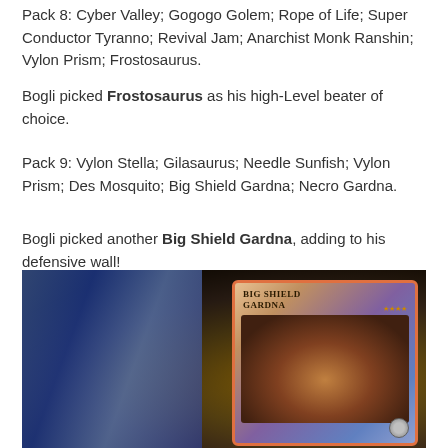Pack 8: Cyber Valley; Gogogo Golem; Rope of Life; Super Conductor Tyranno; Revival Jam; Anarchist Monk Ranshin; Vylon Prism; Frostosaurus.
Bogli picked Frostosaurus as his high-Level beater of choice.
Pack 9: Vylon Stella; Gilasaurus; Needle Sunfish; Vylon Prism; Des Mosquito; Big Shield Gardna; Necro Gardna.
Bogli picked another Big Shield Gardna, adding to his defensive wall!
[Figure (photo): Photo of Yu-Gi-Oh! trading cards laid out on a table, with a Big Shield Gardna card prominently visible in the foreground.]